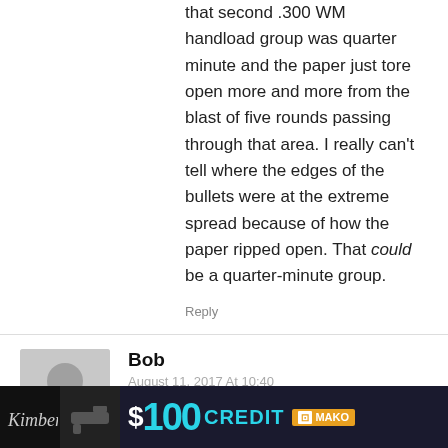that second .300 WM handload group was quarter minute and the paper just tore open more and more from the blast of five rounds passing through that area. I really can't tell where the edges of the bullets were at the extreme spread because of how the paper ripped open. That could be a quarter-minute group.
Reply
Bob
August 11, 2017 At 10:40
My JM Marlin 30-30 is purtier.
Reply
Kahan
[Figure (infographic): Advertisement banner: Kimber logo on dark background with gun image, $100 CREDIT text in cyan, MAKO logo]